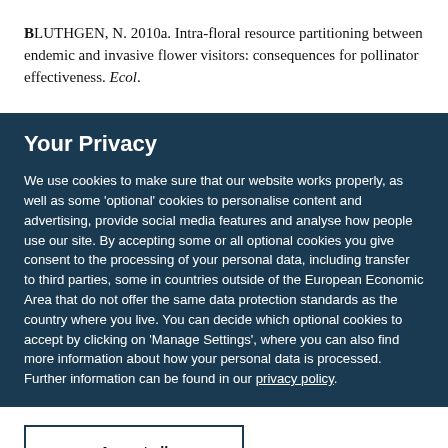Bluthgen, N. 2010a. Intra-floral resource partitioning between endemic and invasive flower visitors: consequences for pollinator effectiveness. Ecol.
Your Privacy
We use cookies to make sure that our website works properly, as well as some 'optional' cookies to personalise content and advertising, provide social media features and analyse how people use our site. By accepting some or all optional cookies you give consent to the processing of your personal data, including transfer to third parties, some in countries outside of the European Economic Area that do not offer the same data protection standards as the country where you live. You can decide which optional cookies to accept by clicking on 'Manage Settings', where you can also find more information about how your personal data is processed. Further information can be found in our privacy policy.